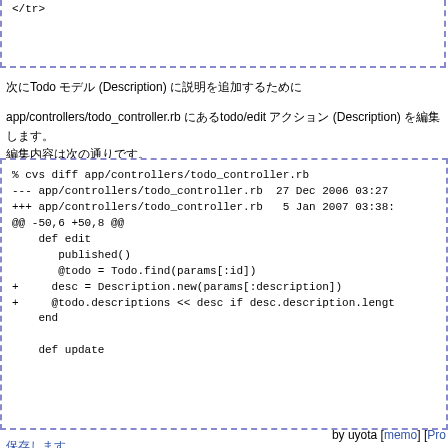[Figure (screenshot): Top portion of a dashed-border code box showing '</tr>' code snippet]
次にTodo モデル (Description) に説明を追加するために...
app/controllers/todo_controller.rb にあるtodo/edit アクション (Description) を編集します。
編集内容は次の通りです。
[Figure (screenshot): Code diff box showing cvs diff of app/controllers/todo_controller.rb with added lines for desc and @todo.descriptions]
保存します。
by uyota [memo] [Pro